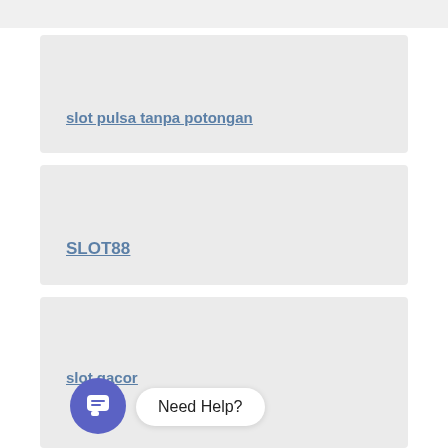(top strip)
slot pulsa tanpa potongan
SLOT88
slot gacor
Need Help?